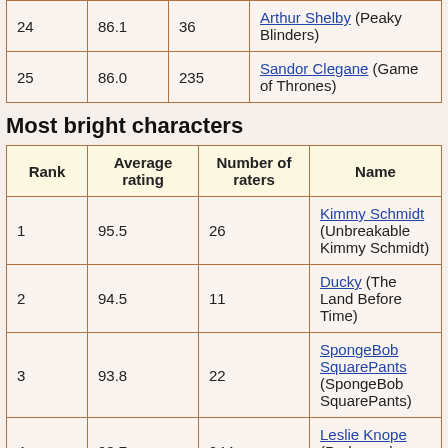| Rank | Average rating | Number of raters | Name |
| --- | --- | --- | --- |
| 24 | 86.1 | 36 | Arthur Shelby (Peaky Blinders) |
| 25 | 86.0 | 235 | Sandor Clegane (Game of Thrones) |
Most bright characters
| Rank | Average rating | Number of raters | Name |
| --- | --- | --- | --- |
| 1 | 95.5 | 26 | Kimmy Schmidt (Unbreakable Kimmy Schmidt) |
| 2 | 94.5 | 11 | Ducky (The Land Before Time) |
| 3 | 93.8 | 22 | SpongeBob SquarePants (SpongeBob SquarePants) |
| 4 | 93.7 | 944 | Leslie Knope (Parks and Recreation) |